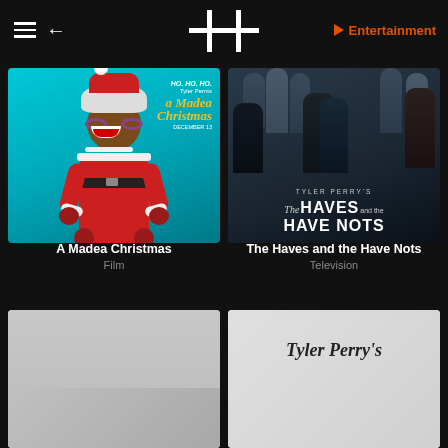Entertainment
[Figure (screenshot): A Madea Christmas movie poster - animated/stylized character in red Santa dress with white fur trim, purple glasses, white wig, on teal background with gold text 'a Madea Christmas']
A Madea Christmas
Film
[Figure (screenshot): Tyler Perry's The Haves and the Have Nots TV show poster - group of well-dressed people in formal attire on dark blue-grey background with large white text 'TYLER PERRY'S The HAVES and the HAVE NOTS']
The Haves and the Have Nots
Television
[Figure (screenshot): Partial view of another movie/show poster - light colored background]
[Figure (screenshot): Partial view of Tyler Perry's show poster with cursive 'Tyler Perry's' signature text on light background]